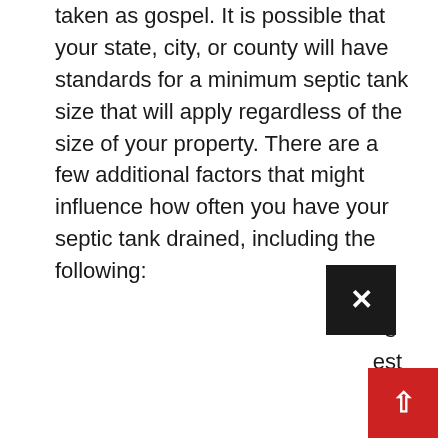taken as gospel. It is possible that your state, city, or county will have standards for a minimum septic tank size that will apply regardless of the size of your property. There are a few additional factors that might influence how often you have your septic tank drained, including the following:
[Figure (other): Black close button (X) UI element]
s
est
[Figure (other): Red scroll-to-top button with upward arrow]